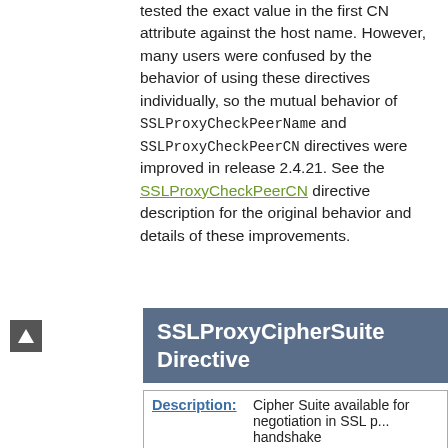tested the exact value in the first CN attribute against the host name. However, many users were confused by the behavior of using these directives individually, so the mutual behavior of SSLProxyCheckPeerName and SSLProxyCheckPeerCN directives were improved in release 2.4.21. See the SSLProxyCheckPeerCN directive description for the original behavior and details of these improvements.
SSLProxyCipherSuite Directive
| Field | Value |
| --- | --- |
| Description: | Cipher Suite available for negotiation in SSL proxy handshake |
| Syntax: | SSLProxyCipherSuite [protocol] cip... |